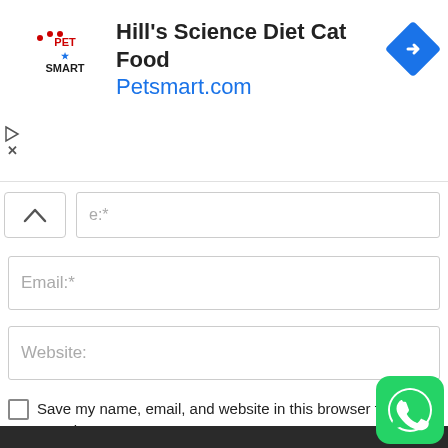[Figure (screenshot): PetSmart advertisement banner showing Hill's Science Diet Cat Food and Petsmart.com URL with PetSmart logo and blue diamond arrow icon]
e:*
Email:*
Website:
Save my name, email, and website in this browser for the next time I comment.
POST COMMENT
[Figure (logo): WhatsApp green circular icon button in bottom right corner]